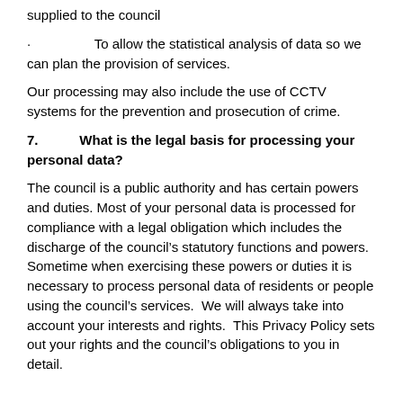supplied to the council
·                  To allow the statistical analysis of data so we can plan the provision of services.
Our processing may also include the use of CCTV systems for the prevention and prosecution of crime.
7.          What is the legal basis for processing your personal data?
The council is a public authority and has certain powers and duties. Most of your personal data is processed for compliance with a legal obligation which includes the discharge of the council’s statutory functions and powers.  Sometime when exercising these powers or duties it is necessary to process personal data of residents or people using the council’s services.  We will always take into account your interests and rights.  This Privacy Policy sets out your rights and the council’s obligations to you in detail.